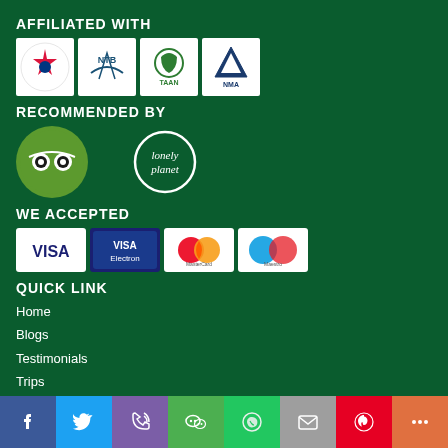AFFILIATED WITH
[Figure (logo): Four affiliation logos: Nepal Tourism Board emblem, NTB logo, TAAN logo, and NMA logo, displayed in white boxes]
RECOMMENDED BY
[Figure (logo): TripAdvisor owl logo in green circle and Lonely Planet text logo in white circle]
WE ACCEPTED
[Figure (logo): Payment card logos: Visa, Visa Electron, MasterCard, Maestro]
QUICK LINK
Home
Blogs
Testimonials
Trips
[Figure (infographic): Social media sharing bar with icons: Facebook, Twitter, Phone, WeChat, WhatsApp, Email, Pinterest, More]